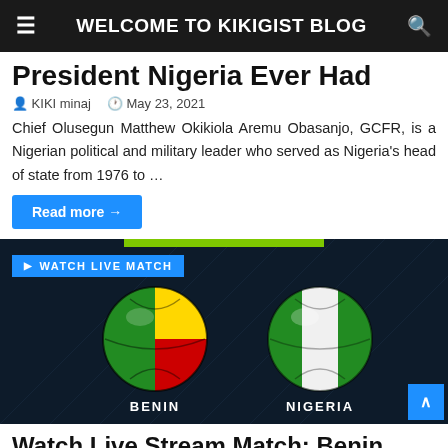WELCOME TO KIKIGIST BLOG
President Nigeria Ever Had
KIKI minaj   May 23, 2021
Chief Olusegun Matthew Okikiola Aremu Obasanjo, GCFR, is a Nigerian political and military leader who served as Nigeria's head of state from 1976 to …
Read more →
[Figure (photo): Soccer match image showing two footballs: Benin (green/yellow/red) vs Nigeria (green/white/green) on dark background, with 'WATCH LIVE MATCH' badge]
Watch Live Stream Match: Benin